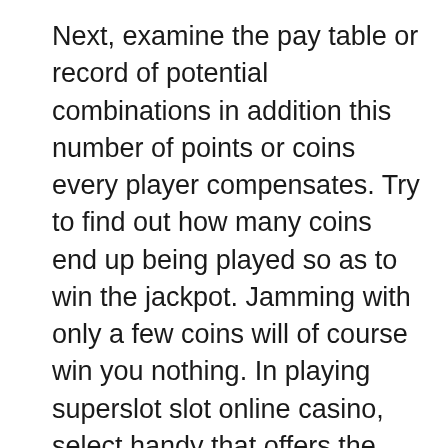Next, examine the pay table or record of potential combinations in addition this number of points or coins every player compensates. Try to find out how many coins end up being played so as to win the jackpot. Jamming with only a few coins will of course win you nothing. In playing superslot slot online casino, select handy that offers the best payout for every coin paid out.
Why do people as the free Cleopatra slots hobby? It probably has a great deal to use the beautiful graphics, the background music and recognition of the Egyptian history that’s utilized in it. After all, harvest know who Cleopatra was? In her day, Cleopatra was essentially the most powerful woman in